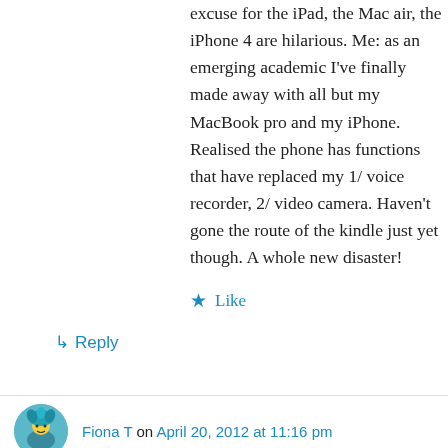excuse for the iPad, the Mac air, the iPhone 4 are hilarious. Me: as an emerging academic I've finally made away with all but my MacBook pro and my iPhone. Realised the phone has functions that have replaced my 1/ voice recorder, 2/ video camera. Haven't gone the route of the kindle just yet though. A whole new disaster!
★ Like
↳ Reply
Fiona T on April 20, 2012 at 11:16 pm
LOL…I can't help but think I may be like this when I travel later in the year. I am hooping having evernote on my phone and laptop means